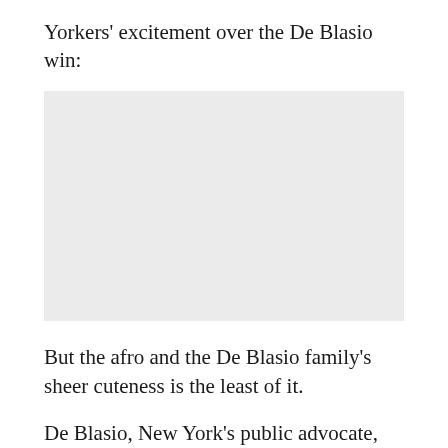Yorkers' excitement over the De Blasio win:
[Figure (photo): A placeholder image (light gray rectangle) representing a photo related to the De Blasio family.]
But the afro and the De Blasio family's sheer cuteness is the least of it.
De Blasio, New York's public advocate, was